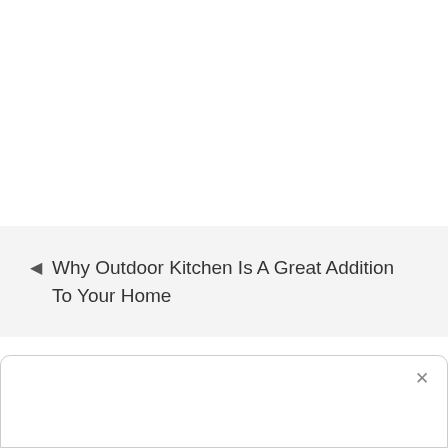◀ Why Outdoor Kitchen Is A Great Addition To Your Home
[Figure (screenshot): A dialog box with a close (X) button in the upper right corner, white background with rounded top corners and a border.]